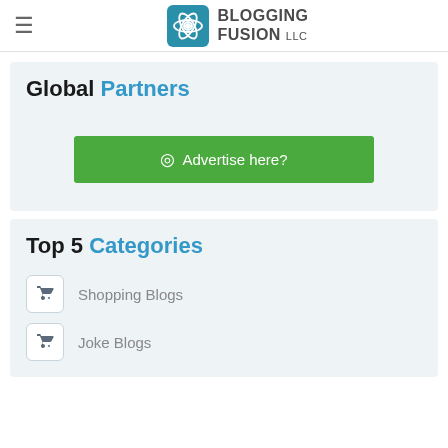BLOGGING FUSION LLC
Global Partners
Advertise here?
Top 5 Categories
Shopping Blogs
Joke Blogs